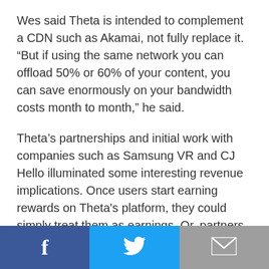Wes said Theta is intended to complement a CDN such as Akamai, not fully replace it. “But if using the same network you can offload 50% or 60% of your content, you can save enormously on your bandwidth costs month to month,” he said.
Theta’s partnerships and initial work with companies such as Samsung VR and CJ Hello illuminated some interesting revenue implications. Once users start earning rewards on Theta's platform, they could simply treat them as earnings. Or, partners could suggest trading in the tokens for discounted premium content or monthly subscriptions. This mechanism could create robust networks and increase revenue streams.
[Figure (infographic): Social sharing footer bar with three buttons: Facebook (blue, f icon), Twitter (light blue, bird icon), and Email (grey, envelope icon)]